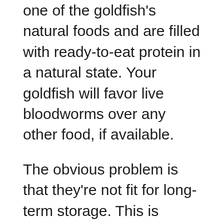one of the goldfish's natural foods and are filled with ready-to-eat protein in a natural state. Your goldfish will favor live bloodworms over any other food, if available.
The obvious problem is that they're not fit for long-term storage. This is where live cultures come into play. I recommend live cultures to all aquarists since these provide the fish with fresh, ready-to-eat food to ensure optimal nutrient intake. Plus, your fish loves live food that they can chase and hunt.